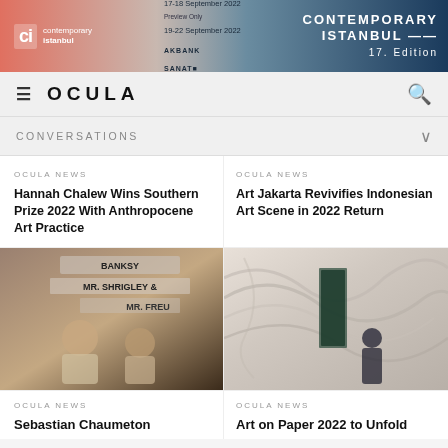[Figure (other): Contemporary Istanbul art fair banner advertisement with pink-to-blue gradient, dates 17-18 September 2022 and 19-22 September 2022, Akbank Sanat sponsor logo, and '17. Edition' text on right]
≡  OCULA  🔍
CONVERSATIONS
OCULA NEWS
Hannah Chalew Wins Southern Prize 2022 With Anthropocene Art Practice
OCULA NEWS
Art Jakarta Revivifies Indonesian Art Scene in 2022 Return
[Figure (photo): Photo showing two young men posing in front of signs reading MR. SHRIGLEY and MR. FREU, casual setting]
[Figure (photo): Photo of a person standing in front of a large swirling white textured artwork on gallery walls]
OCULA NEWS
Sebastian Chaumeton
OCULA NEWS
Art on Paper 2022 to Unfold